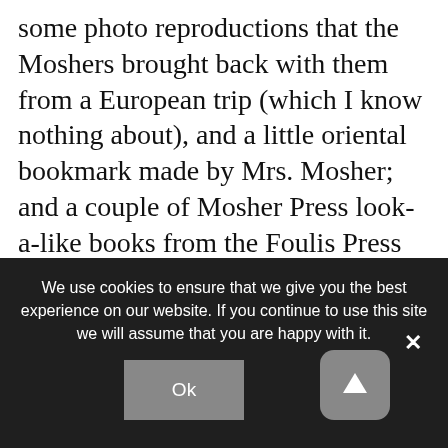some photo reproductions that the Moshers brought back with them from a European trip (which I know nothing about), and a little oriental bookmark made by Mrs. Mosher; and a couple of Mosher Press look-a-like books from the Foulis Press sent to me by a Canadian colleague, Jim Earl. Most recently (June 2004) Jim also sent me a gratis copy of my Mosher bibliography's review written by Dr. David Latham of York University which appeared in the Papers of the
We use cookies to ensure that we give you the best experience on our website. If you continue to use this site we will assume that you are happy with it.